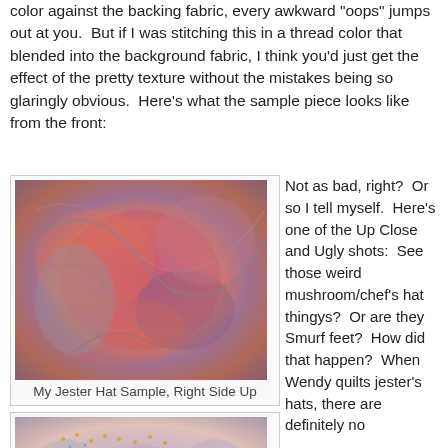color against the backing fabric, every awkward "oops" jumps out at you.  But if I was stitching this in a thread color that blended into the background fabric, I think you'd just get the effect of the pretty texture without the mistakes being so glaringly obvious.  Here's what the sample piece looks like from the front:
[Figure (photo): Close-up photo of a quilted fabric sample showing swirling textures in pink, orange, purple and grey tones - labeled 'My Jester Hat Sample, Right Side Up']
My Jester Hat Sample, Right Side Up
Not as bad, right?  Or so I tell myself.  Here's one of the Up Close and Ugly shots:  See those weird mushroom/chef's hat thingys?  Or are they Smurf feet?  How did that happen?  When Wendy quilts jester's hats, there are definitely no
[Figure (photo): Close-up photo of quilted fabric showing circular swirling stitch patterns with gold/yellow thread highlights on pink and grey fabric]